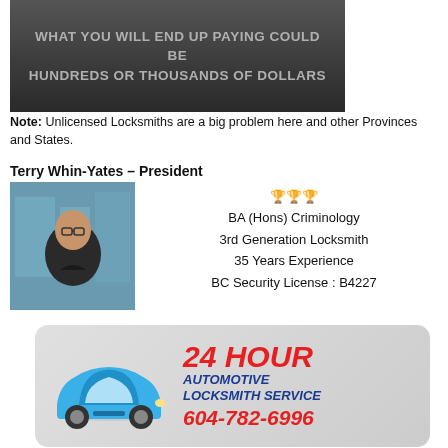[Figure (illustration): Dark grey banner image with text: WHAT YOU WILL END UP PAYING COULD BE HUNDREDS OR THOUSANDS OF DOLLARS]
Note: Unlicensed Locksmiths are a big problem here and other Provinces and States.
Terry Whin-Yates – President
[Figure (photo): Portrait photo of Terry Whin-Yates, a man wearing glasses and a dark shirt, standing outdoors in front of a glass building.]
🏆🏆🏆
BA (Hons) Criminology
3rd Generation Locksmith
35 Years Experience
BC Security License : B4227
[Figure (infographic): 24 HOUR AUTOMOTIVE LOCKSMITH SERVICE 604-782-6996 advertisement with a blue car image on a grey rounded-rectangle background.]